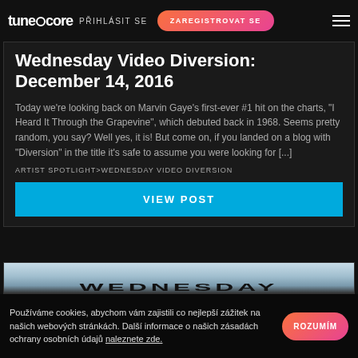TuneCore | PŘIHLÁSIT SE | ZAREGISTROVAT SE
Wednesday Video Diversion: December 14, 2016
Today we're looking back on Marvin Gaye's first-ever #1 hit on the charts, "I Heard It Through the Grapevine", which debuted back in 1968. Seems pretty random, you say? Well yes, it is! But come on, if you landed on a blog with "Diversion" in the title it's safe to assume you were looking for [...]
ARTIST SPOTLIGHT>WEDNESDAY VIDEO DIVERSION
VIEW POST
[Figure (photo): Photo/image with text overlay showing 'WEDNESDAY' in large bold letters against a sky background]
Používáme cookies, abychom vám zajistili co nejlepší zážitek na našich webových stránkách. Další informace o našich zásadách ochrany osobních údajů naleznete zde.
ROZUMÍM